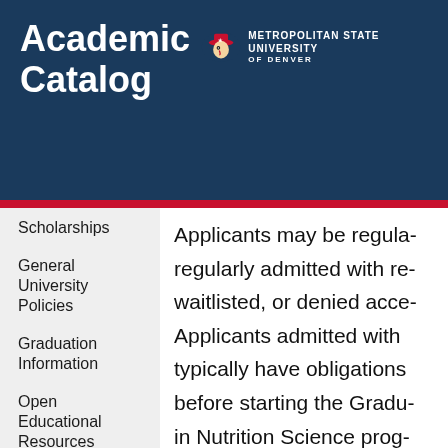Academic Catalog
[Figure (logo): Metropolitan State University of Denver logo with eagle mascot icon and university name text]
Scholarships
General University Policies
Graduation Information
Open Educational Resources (OER)
Registration
Applicants may be regularly admitted with re... waitlisted, or denied acce... Applicants admitted with typically have obligations before starting the Gradu... in Nutrition Science prog... within the first year of enr... Applicants admitted with may have not graduated undergraduate degree at...